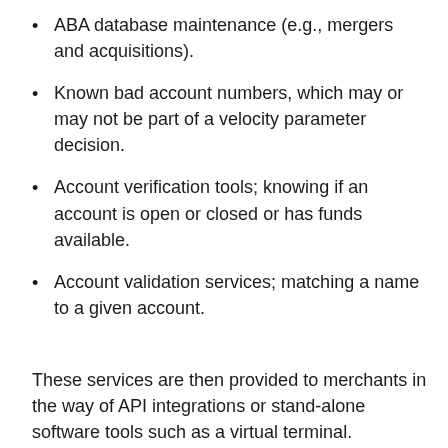ABA database maintenance (e.g., mergers and acquisitions).
Known bad account numbers, which may or may not be part of a velocity parameter decision.
Account verification tools; knowing if an account is open or closed or has funds available.
Account validation services; matching a name to a given account.
These services are then provided to merchants in the way of API integrations or stand-alone software tools such as a virtual terminal.
In the case of an organization who requires that their software applications use the ACH transaction...